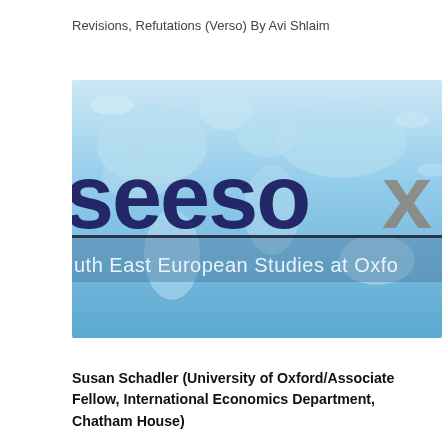Revisions, Refutations (Verso) By Avi Shlaim
[Figure (logo): SEESOX logo — South East European Studies at Oxford — displayed over a world map background in blue tones. Large text reads 'seesox' with a subtitle bar reading 'uth East European Studies at Oxfo']
Susan Schadler (University of Oxford/Associate Fellow, International Economics Department, Chatham House)